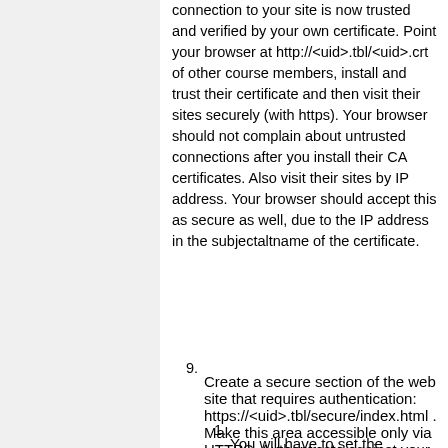connection to your site is now trusted and verified by your own certificate. Point your browser at http://<uid>.tbl/<uid>.crt of other course members, install and trust their certificate and then visit their sites securely (with https). Your browser should not complain about untrusted connections after you install their CA certificates. Also visit their sites by IP address. Your browser should accept this as secure as well, due to the IP address in the subjectaltname of the certificate.
9. Create a secure section of the web site that requires authentication: https://<uid>.tbl/secure/index.html . Make this area accessible only via HTTPS. Authenticate against your LDAP database. Implement this in /var/www/secure/.htaccess.
1. You will have to set the